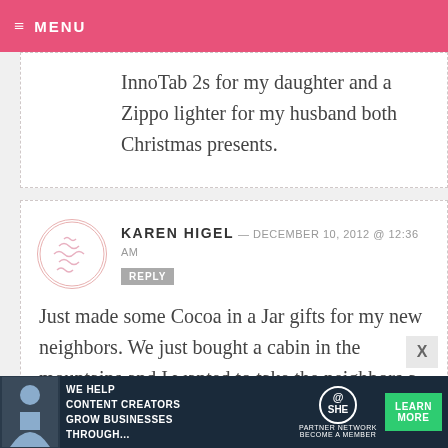MENU
InnoTab 2s for my daughter and a Zippo lighter for my husband both Christmas presents.
KAREN HIGEL — DECEMBER 10, 2012 @ 12:36 AM
Just made some Cocoa in a Jar gifts for my new neighbors. We just bought a cabin in the mountains and I wanted to take the neighbors a little something and introduce ourselves to them. Will
[Figure (infographic): SHE Media Partner Network advertisement banner — WE HELP CONTENT CREATORS GROW BUSINESSES THROUGH... LEARN MORE BECOME A MEMBER]